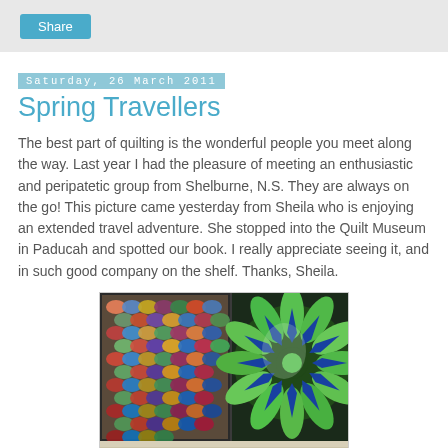Share
Saturday, 26 March 2011
Spring Travellers
The best part of quilting is the wonderful people you meet along the way. Last year I had the pleasure of meeting an enthusiastic and peripatetic group from Shelburne, N.S. They are always on the go! This picture came yesterday from Sheila who is enjoying an extended travel adventure. She stopped into the Quilt Museum in Paducah and spotted our book. I really appreciate seeing it, and in such good company on the shelf. Thanks, Sheila.
[Figure (photo): Photo of quilt books on a shelf at the Quilt Museum in Paducah. Left side shows a colorful oval/diamond pattern quilt, right side shows a green mandala/star pattern quilt. Bottom shelf shows book spines including 'é au Lait' and 'Canadian'.]